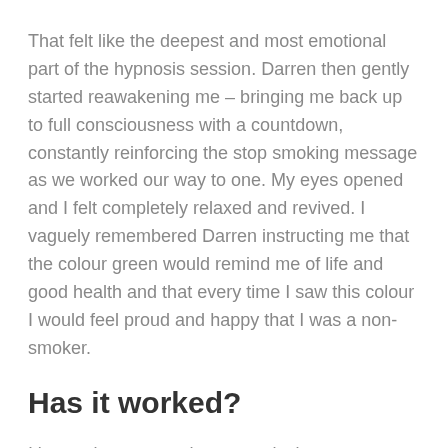That felt like the deepest and most emotional part of the hypnosis session. Darren then gently started reawakening me – bringing me back up to full consciousness with a countdown, constantly reinforcing the stop smoking message as we worked our way to one. My eyes opened and I felt completely relaxed and revived. I vaguely remembered Darren instructing me that the colour green would remind me of life and good health and that every time I saw this colour I would feel proud and happy that I was a non-smoker.
Has it worked?
It's now been more than a week since my appointment and something is different. It wasn't as